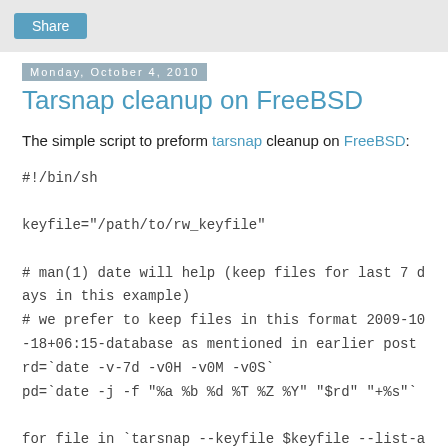Share
Monday, October 4, 2010
Tarsnap cleanup on FreeBSD
The simple script to preform tarsnap cleanup on FreeBSD:
#!/bin/sh

keyfile="/path/to/rw_keyfile"

# man(1) date will help (keep files for last 7 days in this example)
# we prefer to keep files in this format 2009-10-18+06:15-database as mentioned in earlier post
rd=`date -v-7d -v0H -v0M -v0S`
pd=`date -j -f "%a %b %d %T %Z %Y" "$rd" "+%s"`

for file in `tarsnap --keyfile $keyfile --list-archives | sort`; do
fd=`echo -n $file | cut -d'+' -f 1`